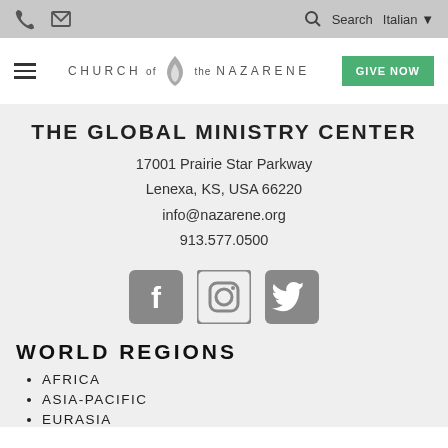Search  Italian
[Figure (logo): Church of the Nazarene logo with flame icon and text]
THE GLOBAL MINISTRY CENTER
17001 Prairie Star Parkway
Lenexa, KS, USA 66220
info@nazarene.org
913.577.0500
[Figure (illustration): Social media icons: Facebook, Instagram, Twitter]
WORLD REGIONS
AFRICA
ASIA-PACIFIC
EURASIA